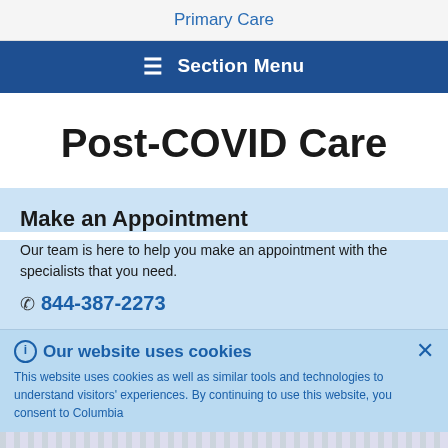Primary Care
≡ Section Menu
Post-COVID Care
Make an Appointment
Our team is here to help you make an appointment with the specialists that you need.
☎ 844-387-2273
Our website uses cookies
This website uses cookies as well as similar tools and technologies to understand visitors' experiences. By continuing to use this website, you consent to Columbia...
How may I help you
Click here ►